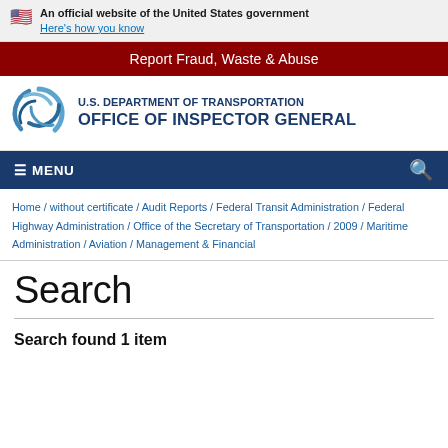An official website of the United States government
Here's how you know
Report Fraud, Waste & Abuse
[Figure (logo): U.S. Department of Transportation Office of Inspector General logo with swirl graphic]
≡ MENU
Home / without certificate / Audit Reports / Federal Transit Administration / Federal Highway Administration / Office of the Secretary of Transportation / 2009 / Maritime Administration / Aviation / Management & Financial
Search
Search found 1 item